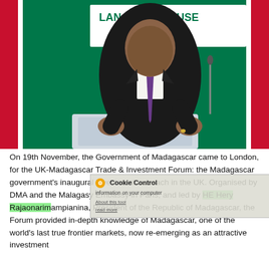[Figure (photo): A man in a dark suit and purple tie speaking at a podium with a microphone, in front of a green and red banner (Madagascar colors) that reads 'LANCASTER HOUSE'. He is gesturing with both hands.]
On 19th November, the Government of Madagascar came to London, for the UK-Madagascar Trade & Investment Forum: the Madagascar government's inaugural investment outreach in the UK. Organised by DMA and the Malagasy Embassy in Paris, and led by HE Hery Rajaonarimampianina, President of the Republic of Madagascar, the Forum provided in-depth knowledge of Madagascar, one of the world's last true frontier markets, now re-emerging as an attractive investment